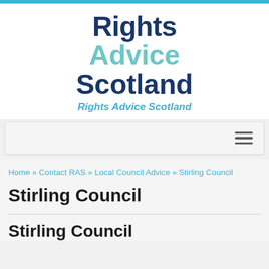[Figure (logo): Rights Advice Scotland logo with stacked text: 'Rights' in dark navy, 'Advice' in teal/aqua, 'Scotland' in dark navy, and tagline 'Rights Advice Scotland' in italic blue below]
Home » Contact RAS » Local Council Advice » Stirling Council
Stirling Council
Stirling Council